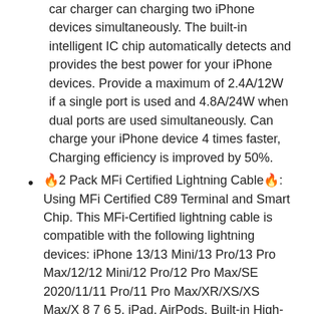car charger can charging two iPhone devices simultaneously. The built-in intelligent IC chip automatically detects and provides the best power for your iPhone devices. Provide a maximum of 2.4A/12W if a single port is used and 4.8A/24W when dual ports are used simultaneously. Can charge your iPhone device 4 times faster, Charging efficiency is improved by 50%.
🔥2 Pack MFi Certified Lightning Cable🔥: Using MFi Certified C89 Terminal and Smart Chip. This MFi-Certified lightning cable is compatible with the following lightning devices: iPhone 13/13 Mini/13 Pro/13 Pro Max/12/12 Mini/12 Pro/12 Pro Max/SE 2020/11/11 Pro/11 Pro Max/XR/XS/XS Max/X 8 7 6 5, iPad, AirPods. Built-in High-Tech Chip provide overvoltage protection, battery protector and automatic chip recognition functions protect your